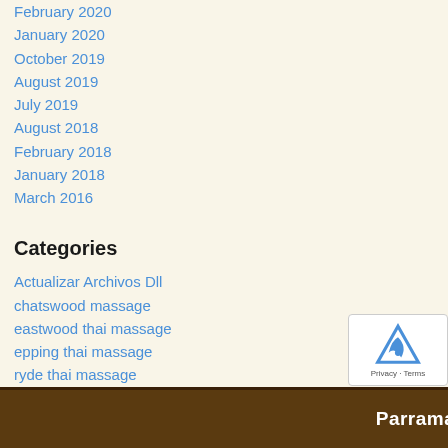February 2020
January 2020
October 2019
August 2019
July 2019
August 2018
February 2018
January 2018
March 2016
Categories
Actualizar Archivos Dll
chatswood massage
eastwood thai massage
epping thai massage
ryde thai massage
strathfield massage
thai massage parramatta
Uncategorized
Parramatta Branch